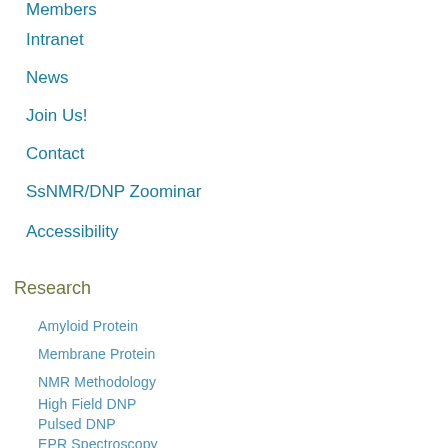Members
Intranet
News
Join Us!
Contact
SsNMR/DNP Zoominar
Accessibility
Research
Amyloid Protein
Membrane Protein
NMR Methodology
High Field DNP
Pulsed DNP
EPR Spectroscopy
DNP Program